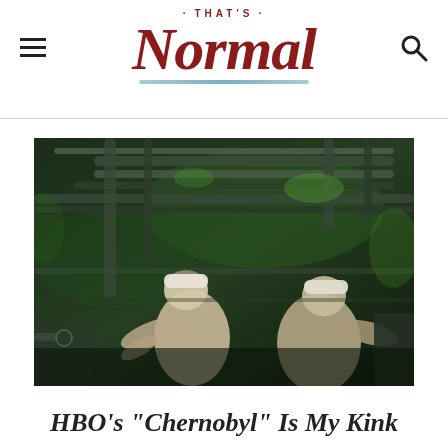That's Normal
[Figure (photo): Two workers in white protective suits and caps working amid industrial pipes and equipment in a dark, green-lit environment, resembling a scene from the HBO series Chernobyl.]
HBO's “Chernobyl” Is My Kink